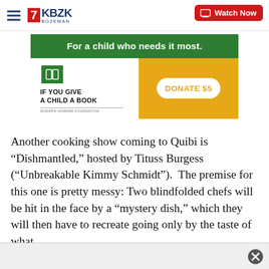KBZK BOZEMAN | Watch Now
[Figure (infographic): Advertisement banner for 'If You Give a Child a Book' by Scripps Howard Foundation. Green header reads 'For a child who needs it most.' Left side shows book icon and program name on white background. Right side has orange background with 'DONATE $5' button.]
Another cooking show coming to Quibi is “Dishmantled,” hosted by Tituss Burgess (“Unbreakable Kimmy Schmidt”).  The premise for this one is pretty messy: Two blindfolded chefs will be hit in the face by a “mystery dish,” which they will then have to recreate going only by the taste of what